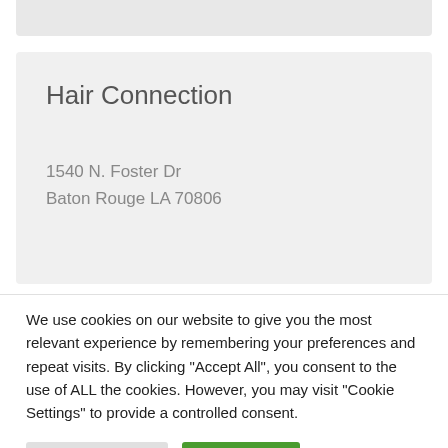[Figure (screenshot): Top gray bar element from a web page UI]
Hair Connection
1540 N. Foster Dr
Baton Rouge LA 70806
We use cookies on our website to give you the most relevant experience by remembering your preferences and repeat visits. By clicking "Accept All", you consent to the use of ALL the cookies. However, you may visit "Cookie Settings" to provide a controlled consent.